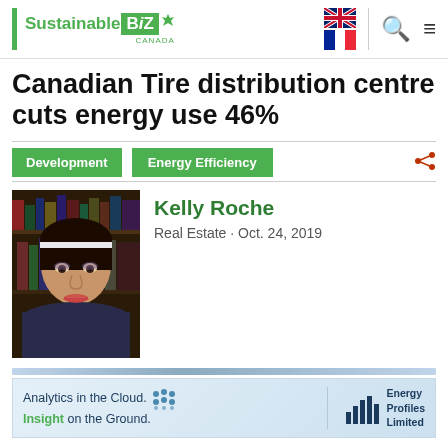SustainableBiz Canada
Canadian Tire distribution centre cuts energy use 46%
Development
Energy Efficiency
[Figure (photo): Headshot photo of Kelly Roche]
Kelly Roche
Real Estate · Oct. 24, 2019
[Figure (infographic): Advertisement banner: Analytics in the Cloud. Insight on the Ground. Energy Profiles Limited]